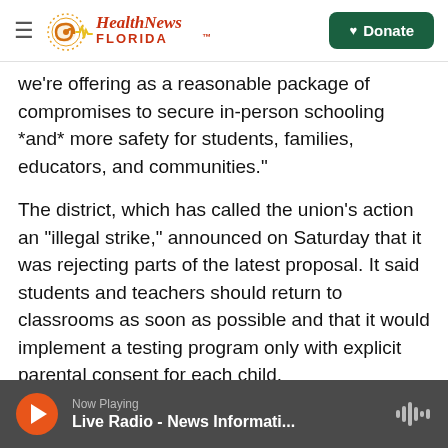Health News Florida — Donate
we're offering as a reasonable package of compromises to secure in-person schooling *and* more safety for students, families, educators, and communities."
The district, which has called the union's action an "illegal strike," announced on Saturday that it was rejecting parts of the latest proposal. It said students and teachers should return to classrooms as soon as possible and that it would implement a testing program only with explicit parental consent for each child.
Now Playing — Live Radio - News Informati...